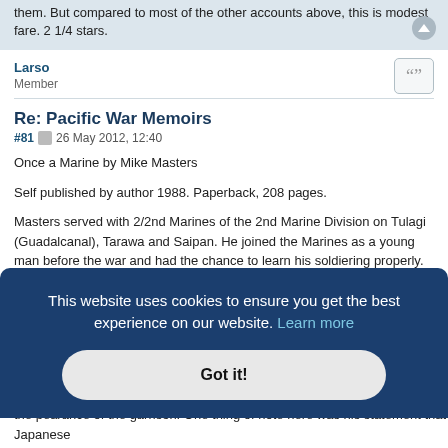them. But compared to most of the other accounts above, this is modest fare. 2 1/4 stars.
Larso
Member
Re: Pacific War Memoirs
#81  26 May 2012, 12:40
Once a Marine by Mike Masters

Self published by author 1988. Paperback, 208 pages.

Masters served with 2/2nd Marines of the 2nd Marine Division on Tulagi (Guadalcanal), Tarawa and Saipan. He joined the Marines as a young man before the war and had the chance to learn his soldiering properly.
This website uses cookies to ensure you get the best experience on our website. Learn more
Got it!
the pearance of the garrison. One thing of note here was his statement that Japanese